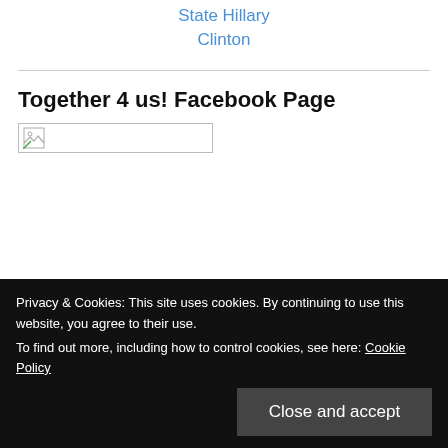State Hillary Clinton
Together 4 us! Facebook Page
[Figure (other): Broken image placeholder with small icon]
Privacy & Cookies: This site uses cookies. By continuing to use this website, you agree to their use. To find out more, including how to control cookies, see here: Cookie Policy
Close and accept